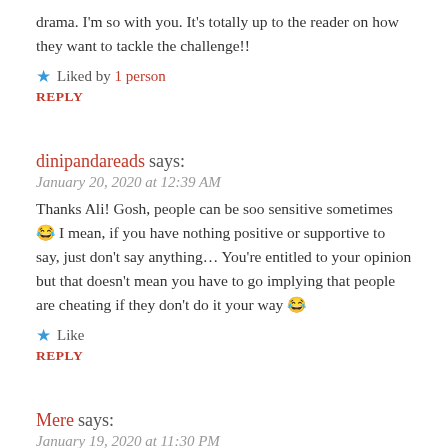drama. I’m so with you. It’s totally up to the reader on how they want to tackle the challenge!!
★ Liked by 1 person
REPLY
dinipandareads says:
January 20, 2020 at 12:39 AM
Thanks Ali! Gosh, people can be soo sensitive sometimes 😂 I mean, if you have nothing positive or supportive to say, just don’t say anything… You’re entitled to your opinion but that doesn’t mean you have to go implying that people are cheating if they don’t do it your way 😂
★ Like
REPLY
Mere says:
January 19, 2020 at 11:30 PM
I feel like I want to get in on this! I might have to check it out!